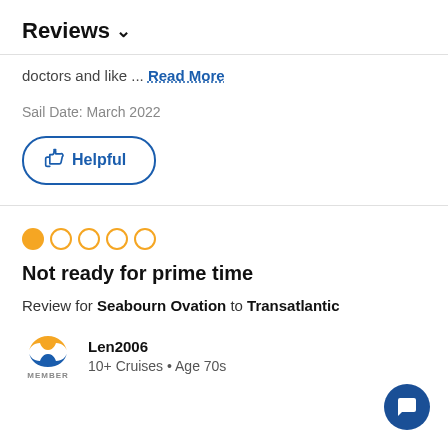Reviews ∨
doctors and like ... Read More
Sail Date: March 2022
👍 Helpful
[Figure (other): 1 out of 5 star rating: one filled orange circle followed by four empty orange-bordered circles]
Not ready for prime time
Review for Seabourn Ovation to Transatlantic
Len2006
10+ Cruises • Age 70s